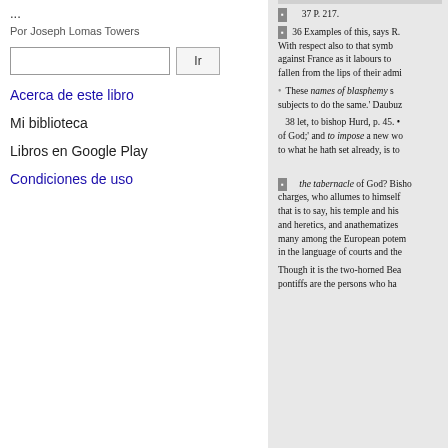...
Por Joseph Lomas Towers
Ir
Acerca de este libro
Mi biblioteca
Libros en Google Play
Condiciones de uso
37 P. 217.
36 Examples of this, says R. With respect also to that symb against France as it labours to fallen from the lips of their admi
These names of blasphemy s subjects to do the same.' Daubuz
38 let, to bishop Hurd, p. 45. of God;' and to impose a new wo to what he hath set already, is to
the tabernacle of God? Bisho charges, who allumes to himself that is to say, his temple and his and heretics, and anathematizes many among the European potem in the language of courts and the
Though it is the two-horned Bea pontiffs are the persons who ha